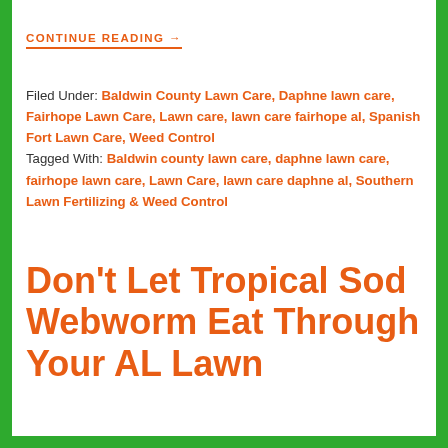CONTINUE READING →
Filed Under: Baldwin County Lawn Care, Daphne lawn care, Fairhope Lawn Care, Lawn care, lawn care fairhope al, Spanish Fort Lawn Care, Weed Control Tagged With: Baldwin county lawn care, daphne lawn care, fairhope lawn care, Lawn Care, lawn care daphne al, Southern Lawn Fertilizing & Weed Control
Don't Let Tropical Sod Webworm Eat Through Your AL Lawn